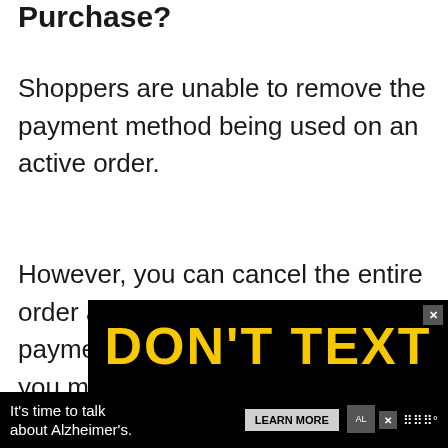Purchase?
Shoppers are unable to remove the payment method being used on an active order.
However, you can cancel the entire order and then remove the payment method, but to do this, you must act before the order is shipped.
[Figure (other): Advertisement banner. Top portion shows 'DON'T TEXT' in large yellow text on black background with X close button. Bottom portion shows Alzheimer's Association ad with text 'It's time to talk about Alzheimer's.' and a LEARN MORE button.]